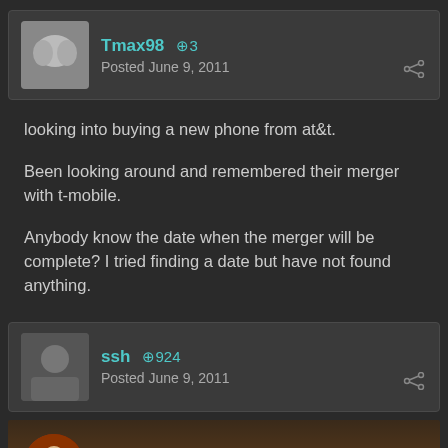Tmax98 +3 Posted June 9, 2011
looking into buying a new phone from at&t.

Been looking around and remembered their merger with t-mobile.

Anybody know the date when the merger will be complete? I tried finding a date but have not found anything.
ssh +924 Posted June 9, 2011
[Figure (other): Ruben's Tube video embed with circular avatar]